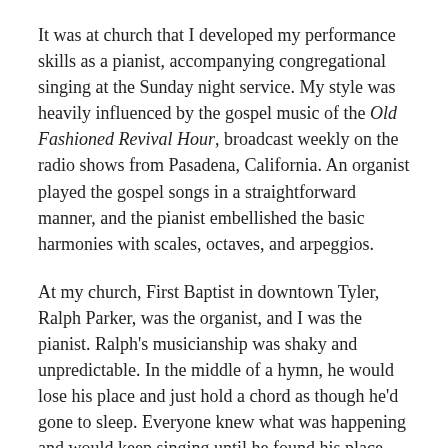It was at church that I developed my performance skills as a pianist, accompanying congregational singing at the Sunday night service. My style was heavily influenced by the gospel music of the Old Fashioned Revival Hour, broadcast weekly on the radio shows from Pasadena, California. An organist played the gospel songs in a straightforward manner, and the pianist embellished the basic harmonies with scales, octaves, and arpeggios.
At my church, First Baptist in downtown Tyler, Ralph Parker, was the organist, and I was the pianist. Ralph's musicianship was shaky and unpredictable. In the middle of a hymn, he would lose his place and just hold a chord as though he'd gone to sleep. Everyone knew what was happening and would keep singing until he found his place and got back into rhythm. I filled in the rhythmic gaps with my melismatic flourishes. While plates were being passed to collect money from congregants, I played solo piano improvisations based on more meditative hymns. I was also